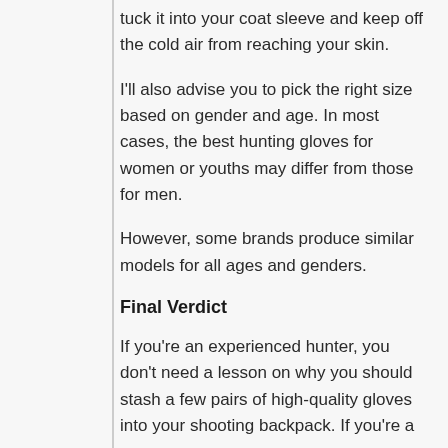tuck it into your coat sleeve and keep off the cold air from reaching your skin.
I'll also advise you to pick the right size based on gender and age. In most cases, the best hunting gloves for women or youths may differ from those for men.
However, some brands produce similar models for all ages and genders.
Final Verdict
If you're an experienced hunter, you don't need a lesson on why you should stash a few pairs of high-quality gloves into your shooting backpack. If you're a